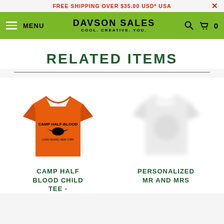FREE SHIPPING OVER $35.00 USD* USA
[Figure (logo): Dawson Sales logo with tagline 'COOL. CREATIVE. YOU.' on green navigation bar with MENU text, hamburger icon, search icon, and cart icon showing 0]
RELATED ITEMS
[Figure (photo): Orange Camp Half Blood Child Tee t-shirt with black graphic]
CAMP HALF BLOOD CHILD TEE -
[Figure (photo): Blurred/out-of-focus white t-shirt]
PERSONALIZED MR AND MRS